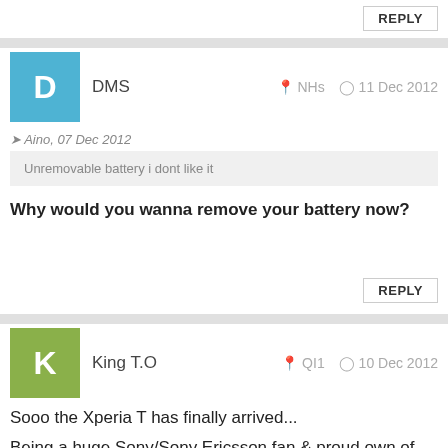REPLY
DMS   NHs   11 Dec 2012
Aino, 07 Dec 2012
Unremovable battery i dont like it
Why would you wanna remove your battery now?
REPLY
King T.O   QI1   10 Dec 2012
Sooo the Xperia T has finally arrived...
Being a huge Sony/Sony Ericsson fan & proud own of many handsets over the years... THIS PHONE IS A ABSOLUTE WASTE